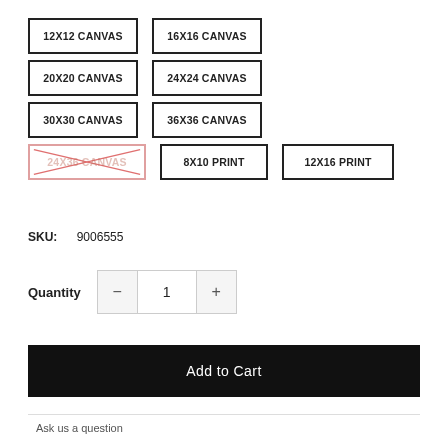12X12 CANVAS
16X16 CANVAS
20X20 CANVAS
24X24 CANVAS
30X30 CANVAS
36X36 CANVAS
24X36 CANVAS (unavailable)
8X10 PRINT
12X16 PRINT
SKU: 9006555
Quantity 1
Add to Cart
Ask us a question